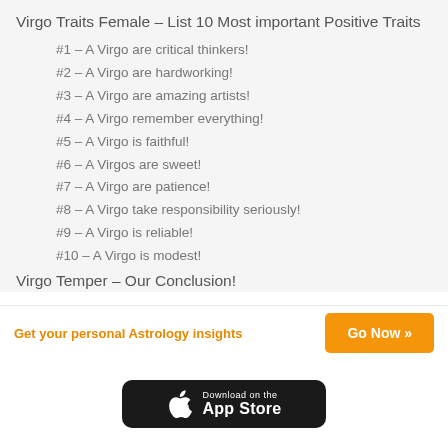Virgo Traits Female – List 10 Most important Positive Traits
#1 – A Virgo are critical thinkers!
#2 – A Virgo are hardworking!
#3 – A Virgo are amazing artists!
#4 – A Virgo remember everything!
#5 – A Virgo is faithful!
#6 – A Virgos are sweet!
#7 – A Virgo are patience!
#8 – A Virgo take responsibility seriously!
#9 – A Virgo is reliable!
#10 – A Virgo is modest!
Virgo Temper – Our Conclusion!
Get your personal Astrology insights
Go Now »
[Figure (logo): Download on the App Store button]